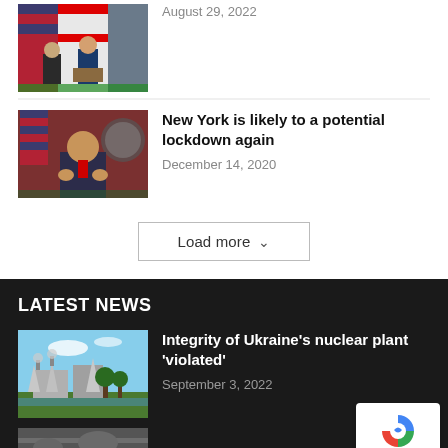[Figure (photo): Two officials at a podium with flags in background]
August 29, 2022
[Figure (photo): Man speaking, NYC official seals in background]
New York is likely to a potential lockdown again
December 14, 2020
Load more
LATEST NEWS
[Figure (photo): Aerial view of nuclear plant with cooling towers]
Integrity of Ukraine's nuclear plant 'violated'
September 3, 2022